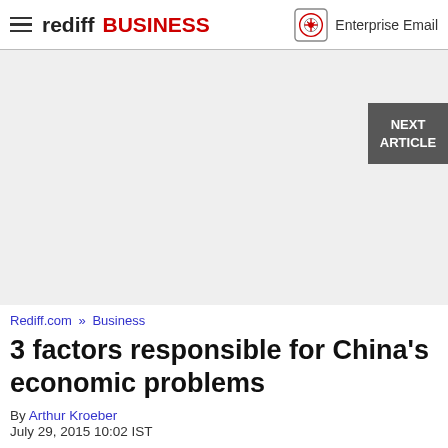rediff BUSINESS  Enterprise Email
[Figure (other): Advertisement/blank gray area placeholder]
NEXT ARTICLE
Rediff.com » Business
3 factors responsible for China's economic problems
By Arthur Kroeber
July 29, 2015 10:02 IST